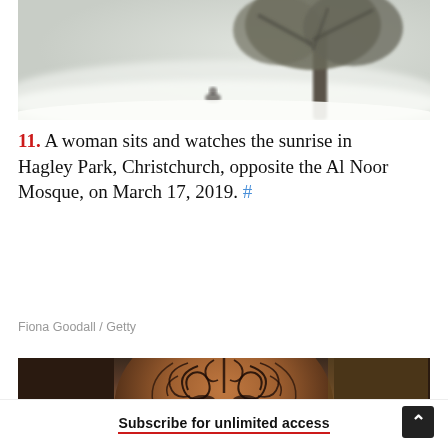[Figure (photo): A misty foggy scene in a park with a large tree and a lone person sitting in the background, very light and hazy atmosphere]
11. A woman sits and watches the sunrise in Hagley Park, Christchurch, opposite the Al Noor Mosque, on March 17, 2019. #
Fiona Goodall / Getty
[Figure (photo): Close-up portrait of a person with elaborate Maori-style facial tattoos (tā moko) covering the entire face, dark background]
Subscribe for unlimited access